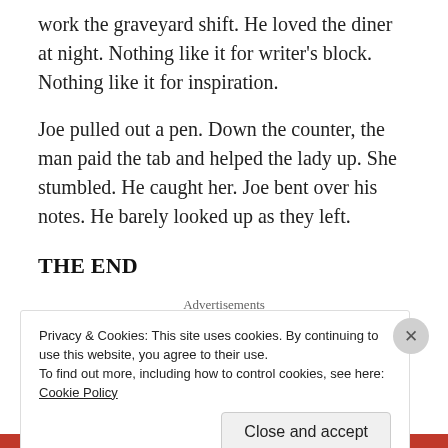work the graveyard shift. He loved the diner at night. Nothing like it for writer’s block. Nothing like it for inspiration.
Joe pulled out a pen. Down the counter, the man paid the tab and helped the lady up. She stumbled. He caught her. Joe bent over his notes. He barely looked up as they left.
THE END
Advertisements
Privacy & Cookies: This site uses cookies. By continuing to use this website, you agree to their use.
To find out more, including how to control cookies, see here: Cookie Policy
Close and accept